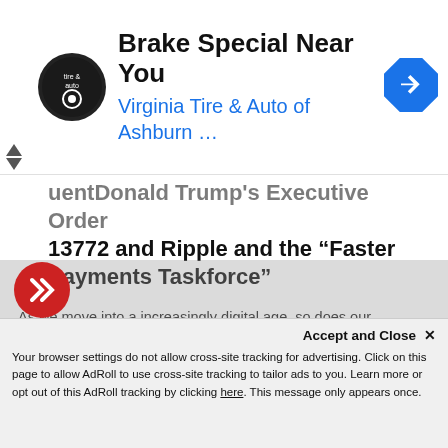[Figure (screenshot): Ad banner for Virginia Tire & Auto of Ashburn with logo, headline 'Brake Special Near You', subline 'Virginia Tire & Auto of Ashburn ...', and a blue diamond navigation arrow icon on the right.]
uentDonald Trump's Executive Order 13772 and Ripple and the “Faster Payments Taskforce”
As we move into a increasingly digital age, so does our monetary system. Here is our dissection of Executive Order 13772, for your own personal interpretation. Mentioned in it are Ripple, Ledger X, and many other known names. MORE
August 19, 2018, 6:04 am
READ MORE  +1
Accept and Close ×
Your browser settings do not allow cross-site tracking for advertising. Click on this page to allow AdRoll to use cross-site tracking to tailor ads to you. Learn more or opt out of this AdRoll tracking by clicking here. This message only appears once.